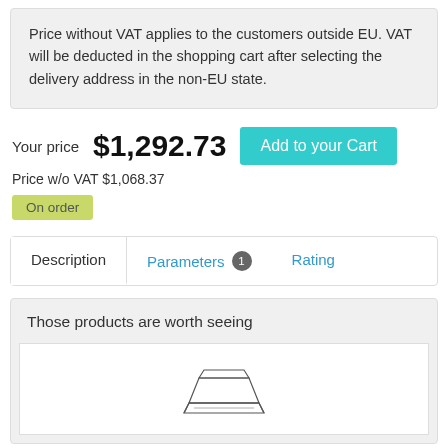Price without VAT applies to the customers outside EU. VAT will be deducted in the shopping cart after selecting the delivery address in the non-EU state.
Your price $1,292.73
Price w/o VAT $1,068.37
On order
Description | Parameters 1 | Rating
Those products are worth seeing
[Figure (illustration): Line drawing of a ceiling-mounted light fixture or diffuser, viewed from a slight angle showing a flat square shape with a recessed top and angled sides.]